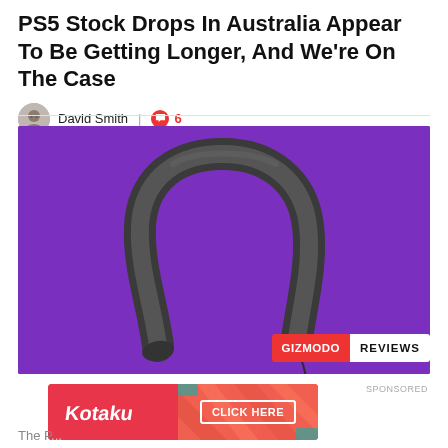PS5 Stock Drops In Australia Appear To Be Getting Longer, And We're On The Case
David Smith  |  6
[Figure (photo): A dark gray Sony neckband speaker/wearable audio device floating on a purple background, with a Gizmodo Reviews badge overlay in the bottom right corner.]
[Figure (other): Kotaku advertisement banner with 'CLICK HERE' button on a red/coral background with diagonal stripe pattern.]
The P...